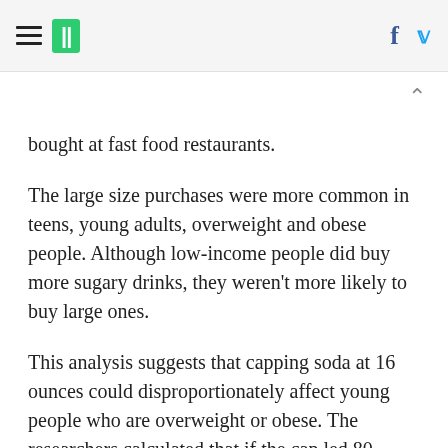≡  ||  f  🐦
bought at fast food restaurants.
The large size purchases were more common in teens, young adults, overweight and obese people. Although low-income people did buy more sugary drinks, they weren't more likely to buy large ones.
This analysis suggests that capping soda at 16 ounces could disproportionately affect young people who are overweight or obese. The researchers calculated that if the cap led 80 percent of the people that order larger drinks to downsize to 16 ounces, it would